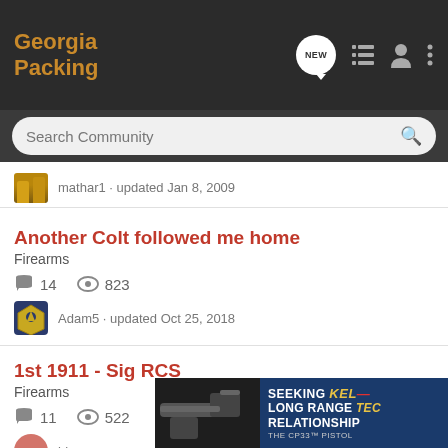Georgia Packing
Search Community
mathar1 · updated Jan 8, 2009
Another Colt followed me home
Firearms
14  823
Adam5 · updated Oct 25, 2018
1st 1911 - Sig RCS
Firearms
11  522
hk
[Figure (screenshot): Kel-Tec advertisement banner showing a CP33 pistol with text SEEKING LONG RANGE RELATIONSHIP and Kel-Tec logo]